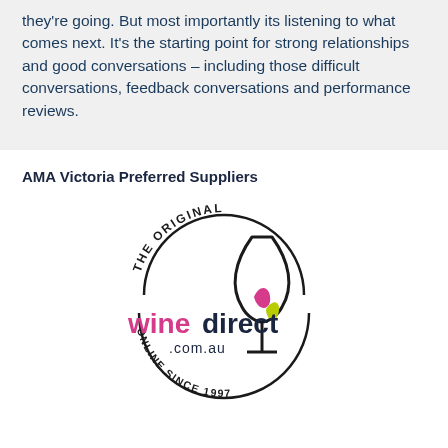they're going. But most importantly its listening to what comes next. It's the starting point for strong relationships and good conversations – including those difficult conversations, feedback conversations and performance reviews.
AMA Victoria Preferred Suppliers
[Figure (logo): WineDirect.com.au logo with circular badge reading 'THE ORIGINAL' at top and 'ONLINE SINCE 1997' at bottom, with 'winedirect.com.au' text and a wine glass graphic with pink and green leaf shapes]